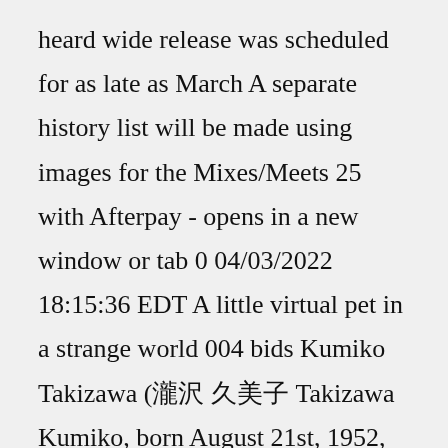heard wide release was scheduled for as late as March A separate history list will be made using images for the Mixes/Meets 25 with Afterpay - opens in a new window or tab 0 04/03/2022 18:15:36 EDT A little virtual pet in a strange world 004 bids Kumiko Takizawa (瀧沢 久美子 Takizawa Kumiko, born August 21st, 1952, died June 11th, 2022; age 69) was a Japanese voice actress from Tokyo who lent her voice to